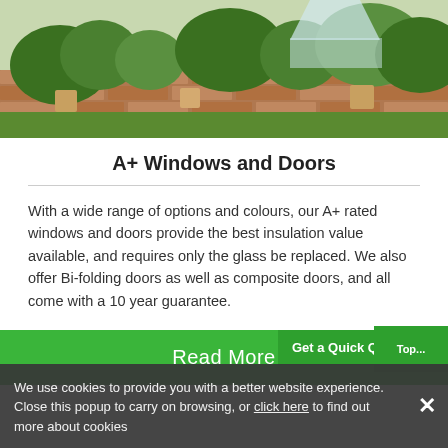[Figure (photo): Garden photo showing brick wall, potted plants, and green foliage]
A+ Windows and Doors
With a wide range of options and colours, our A+ rated windows and doors provide the best insulation value available, and requires only the glass be replaced. We also offer Bi-folding doors as well as composite doors, and all come with a 10 year guarantee.
Read More
Get a Quick Quote!
We use cookies to provide you with a better website experience. Close this popup to carry on browsing, or click here to find out more about cookies